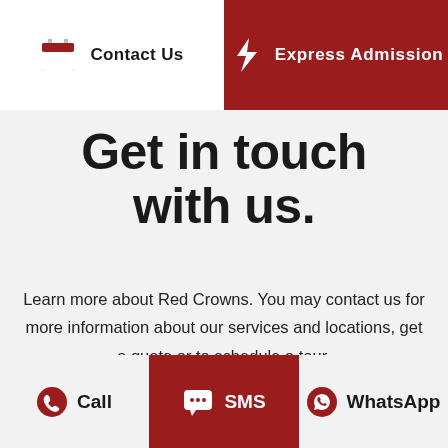Contact Us
Express Admission
Get in touch with us.
Learn more about Red Crowns. You may contact us for more information about our services and locations, get a quote or to schedule a tour.
Call
SMS
WhatsApp